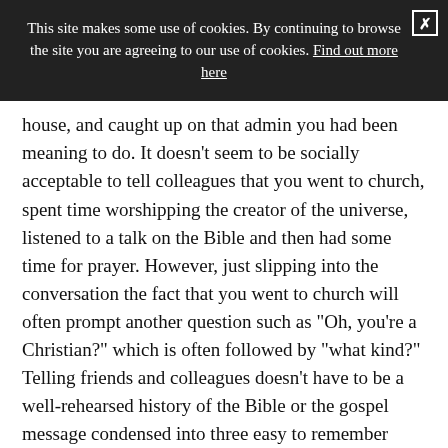This site makes some use of cookies. By continuing to browse the site you are agreeing to our use of cookies. Find out more here
house, and caught up on that admin you had been meaning to do. It doesn't seem to be socially acceptable to tell colleagues that you went to church, spent time worshipping the creator of the universe, listened to a talk on the Bible and then had some time for prayer. However, just slipping into the conversation the fact that you went to church will often prompt another question such as "Oh, you're a Christian?" which is often followed by "what kind?" Telling friends and colleagues doesn't have to be a well-rehearsed history of the Bible or the gospel message condensed into three easy to remember acronyms. Quite simply it can just be about telling them about how being a Christian affects your like. It's your personal recommendation of your